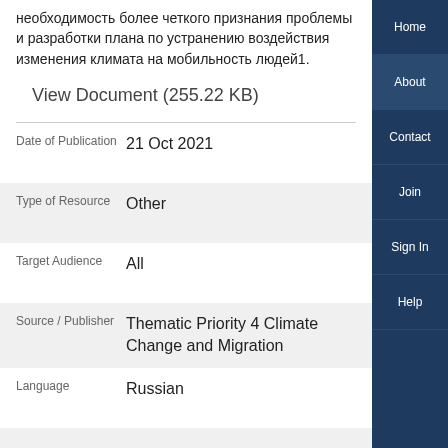необходимость более четкого признания проблемы и разработки плана по устранению воздействия изменения климата на мобильность людей1.
View Document (255.22 KB)
| Field | Value |
| --- | --- |
| Date of Publication | 21 Oct 2021 |
| Type of Resource | Other |
| Target Audience | All |
| Source / Publisher | Thematic Priority 4 Climate Change and Migration |
| Language | Russian |
Home
About
Contact
Join
Sign In
Help